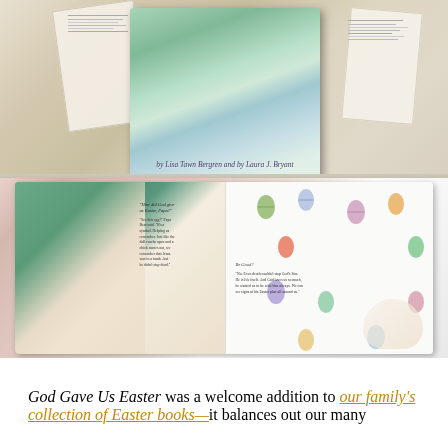[Figure (photo): Two photographs stacked vertically. Top photo shows a children's book titled 'God Gave Us Easter' by Lisa Tawn Bergren and Laura J. Bryant, featuring bears and a rabbit on the cover, resting on scattered open book pages. Bottom photo shows the same book open to an interior spread, with illustrated bears on the left page and colorful Easter eggs scattered on the right page, along with text passages about Easter.]
God Gave Us Easter was a welcome addition to our family's collection of Easter books—it balances out our many